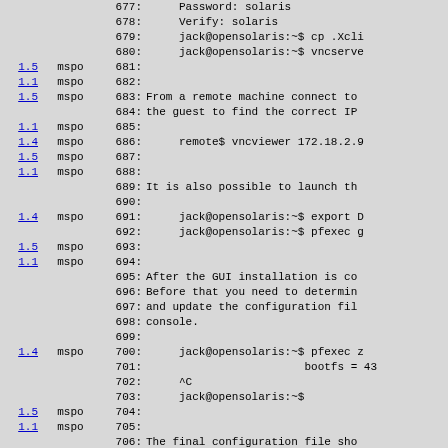Code/diff listing lines 677-707 showing OpenSolaris VNC server setup and GUI installation instructions with line numbers, version markers (1.1, 1.4, 1.5) and mspo annotations.